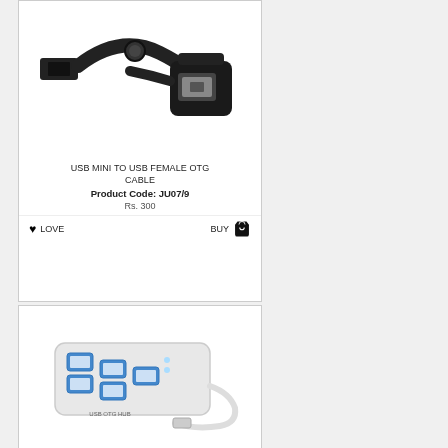[Figure (photo): USB Mini to USB Female OTG Cable — black mini USB plug on left, USB female adapter on right, connected by short cable]
USB MINI TO USB FEMALE OTG CABLE
Product Code: JU07/9
Rs. 300
LOVE   BUY
[Figure (photo): White USB OTG Hub with 4 USB ports labeled 'USB OTG HUB', with a white cable attached]